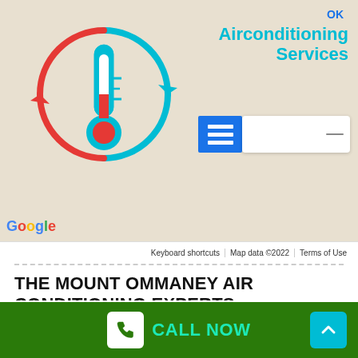[Figure (screenshot): Google Maps screenshot with air conditioning services logo overlay showing a thermometer inside a circular arrow icon in red and blue, with 'Airconditioning Services' text in cyan, a blue menu icon, and a white search bar. Map footer shows 'Keyboard shortcuts', 'Map data ©2022', 'Terms of Use'.]
THE MOUNT OMMANEY AIR CONDITIONING EXPERTS
We provide a complete air conditioner setup and in Mount Ommaney. Our specialists are highly trained and understand the very best methods to handle the various type of ac system. Call 4863 4450 for the same day a/c repair work, a/c installations and air
CALL NOW